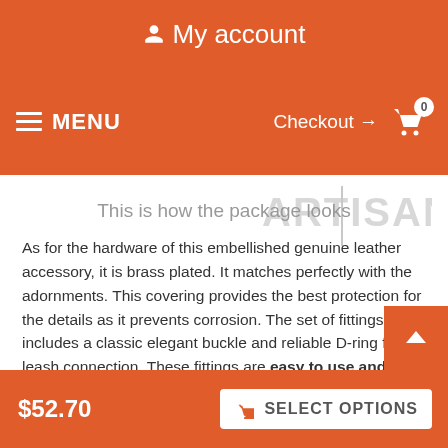My account  MENU  Checkout → 0
[Figure (logo): ARTISAN brand logo in grey text]
This is how the package looks
As for the hardware of this embellished genuine leather accessory, it is brass plated. It matches perfectly with the adornments. This covering provides the best protection for the details as it prevents corrosion. The set of fittings includes a classic elegant buckle and reliable D-ring for leash connection. These fittings are easy to use and reliable in service they provide. Add more zest to your German Shepherd's outlook, purchase this fancy leather collar!
Click on the pictures to see bigger image
$52.70  SELECT OPTIONS